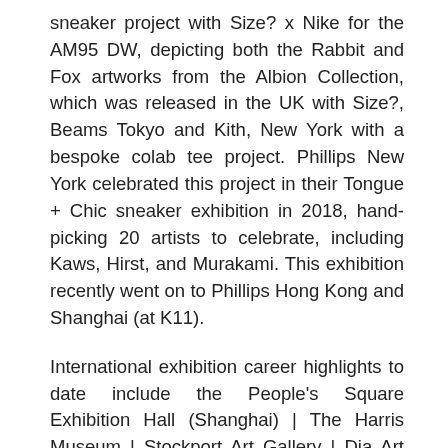sneaker project with Size? x Nike for the AM95 DW, depicting both the Rabbit and Fox artworks from the Albion Collection, which was released in the UK with Size?, Beams Tokyo and Kith, New York with a bespoke colab tee project. Phillips New York celebrated this project in their Tongue + Chic sneaker exhibition in 2018, hand-picking 20 artists to celebrate, including Kaws, Hirst, and Murakami. This exhibition recently went on to Phillips Hong Kong and Shanghai (at K11).
International exhibition career highlights to date include the People's Square Exhibition Hall (Shanghai) | The Harris Museum | Stockport Art Gallery | Dia Art Centre (New York) | The Walker Art Gallery | Centre for Arts (Rotterdam) | Art Basel Week (Miami) | Truman Brewery (London) | Liverpool International Biennial of Contemporary Art | New Museum of Contemporary Art (New York) on the Project on Creativity with Chuck Close | Hospital Club Gallery (London) and the Goss Michael Foundation (Dallas) for MTV RE:DEFINE with